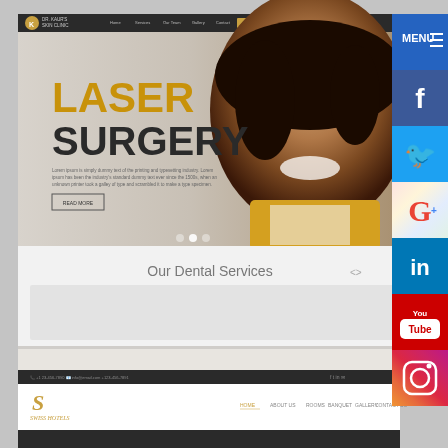[Figure (screenshot): Screenshot of a dental/skin clinic website (Dr. Kaur's Skin Clinic) showing a hero section with 'LASER SURGERY' heading, a smiling woman's face, navigation bar, Lorem ipsum text, 'Read More' button, and a blurred 'Our Dental Services' section below]
[Figure (screenshot): Partial screenshot of a second website footer area with dark top bar showing contact info, and Swiss Hotel logo with navigation links]
[Figure (infographic): Social media sidebar on the right side with MENU button (blue), Facebook (dark blue), Twitter (light blue), Google (multicolor), LinkedIn (blue), YouTube (red), and Instagram (gradient) icons stacked vertically]